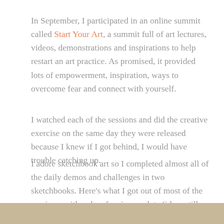In September, I participated in an online summit called Start Your Art, a summit full of art lectures, videos, demonstrations and inspirations to help restart an art practice. As promised, it provided lots of empowerment, inspiration, ways to overcome fear and connect with yourself.
I watched each of the sessions and did the creative exercise on the same day they were released because I knew if I got behind, I would have trouble catching up.
I adore sketchbook art so I completed almost all of the daily demos and challenges in two sketchbooks. Here's what I got out of most of the sessions, with only a few incomplete (ideas still brewing).
[Figure (photo): Bottom strip of a tan/beige colored image, partially visible at the bottom of the page.]